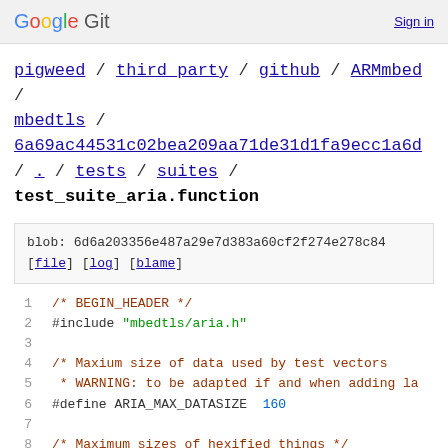Google Git   Sign in
pigweed / third_party / github / ARMmbed / mbedtls / 6a69ac44531c02bea209aa71de31d1fa9ecc1a6d / . / tests / suites / test_suite_aria.function
blob: 6d6a203356e487a29e7d383a60cf2f274e278c84 [file] [log] [blame]
1   /* BEGIN_HEADER */
2   #include "mbedtls/aria.h"
3
4   /* Maxium size of data used by test vectors
5    * WARNING: to be adapted if and when adding la
6   #define ARIA_MAX_DATASIZE  160
7
8   /* Maximum sizes of hexified things */